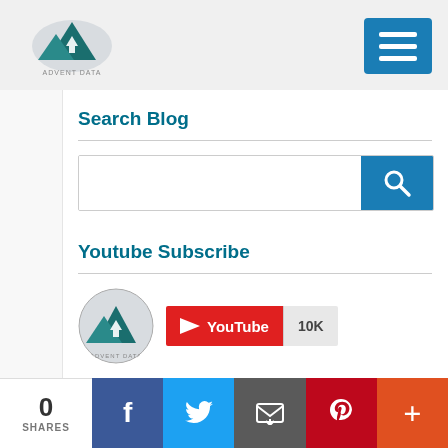Adventure Data blog header with logo and hamburger menu
Search Blog
[Figure (screenshot): Search input box with blue search button containing magnifying glass icon]
Youtube Subscribe
[Figure (screenshot): Adventure Data circular logo next to a YouTube subscribe button showing 10K subscribers]
Recent Posts
0 SHARES | Facebook | Twitter | Email | Pinterest | More